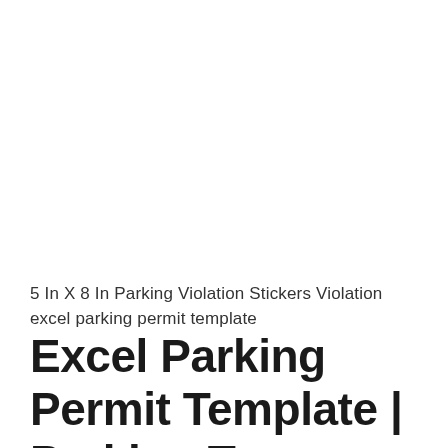5 In X 8 In Parking Violation Stickers Violation excel parking permit template
Excel Parking Permit Template | Parking Tag Template Templates